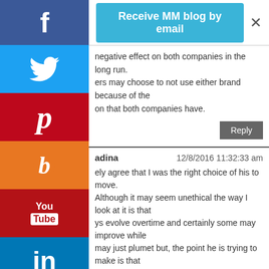[Figure (screenshot): Social media share buttons sidebar: Facebook (blue), Twitter (light blue with bird), Pinterest (red with P), Blogger (orange with b), YouTube (dark red with You/Tube), LinkedIn (blue with in), More (gray with dots)]
Receive MM blog by email
×
negative effect on both companies in the long run. ers may choose to not use either brand because of the on that both companies have.
Reply
adina   12/8/2016 11:32:33 am
ely agree that I was the right choice of his to move. Although it may seem unethical the way I look at it is that ys evolve overtime and certainly some may improve while may just plumet but, the point he is trying to make is that een a better evolved network which is sprint. even though it happens to be one of the rivals of his former sponsor he simply saying the truth and going for what is best.
Reply